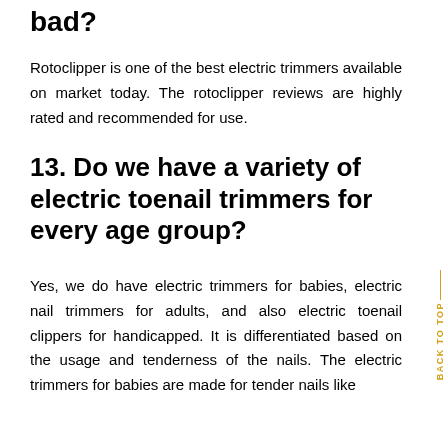bad?
Rotoclipper is one of the best electric trimmers available on market today. The rotoclipper reviews are highly rated and recommended for use.
13. Do we have a variety of electric toenail trimmers for every age group?
Yes, we do have electric trimmers for babies, electric nail trimmers for adults, and also electric toenail clippers for handicapped. It is differentiated based on the usage and tenderness of the nails. The electric trimmers for babies are made for tender nails like